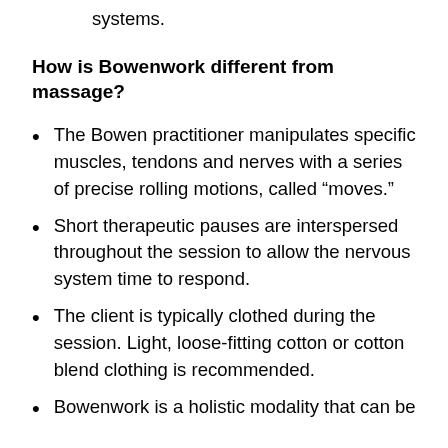fascial, nervous and sensory, and lymphatic systems.
How is Bowenwork different from massage?
The Bowen practitioner manipulates specific muscles, tendons and nerves with a series of precise rolling motions, called “moves.”
Short therapeutic pauses are interspersed throughout the session to allow the nervous system time to respond.
The client is typically clothed during the session. Light, loose-fitting cotton or cotton blend clothing is recommended.
Bowenwork is a holistic modality that can be